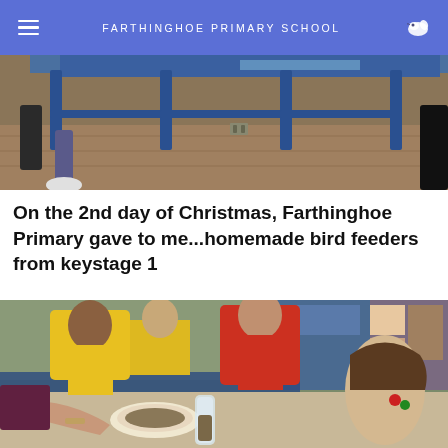FARTHINGHOE PRIMARY SCHOOL
[Figure (photo): Classroom scene showing children's legs under blue metal tables on a wooden floor]
On the 2nd day of Christmas, Farthinghoe Primary gave to me...homemade bird feeders from keystage 1
[Figure (photo): Young children wearing aprons (yellow and red) making bird feeders at a table with seeds and other craft materials, supervised by an adult]